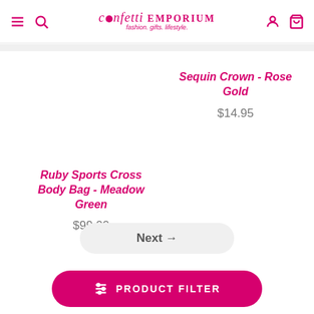confetti EMPORIUM - fashion. gifts. lifestyle.
Sequin Crown - Rose Gold
$14.95
Ruby Sports Cross Body Bag - Meadow Green
$99.00
Next →
PRODUCT FILTER